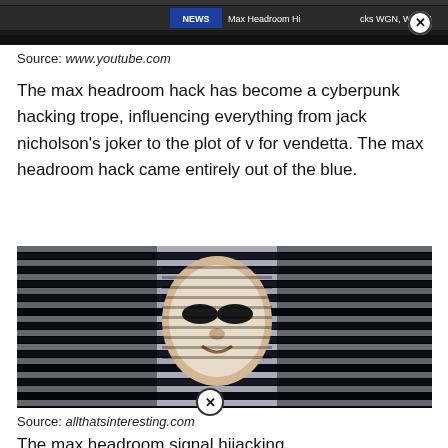[Figure (screenshot): Top portion of a video screenshot showing a news ticker with 'Max Headroom Hijacks WGN, WTTW' text, with a close button overlay]
Source: www.youtube.com
The max headroom hack has become a cyberpunk hacking trope, influencing everything from jack nicholson's joker to the plot of v for vendetta. The max headroom hack came entirely out of the blue.
[Figure (screenshot): Video screenshot showing a person wearing a mask with horizontal scan lines/stripes in background, the Max Headroom signal hijacking footage]
Source: allthatsinteresting.com
The max headroom signal hijacking